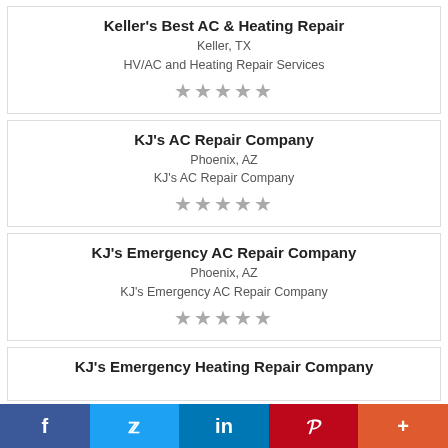Keller's Best AC & Heating Repair
Keller, TX
HV/AC and Heating Repair Services
[Figure (other): Five grey star rating icons]
KJ's AC Repair Company
Phoenix, AZ
KJ's AC Repair Company
[Figure (other): Five grey star rating icons]
KJ's Emergency AC Repair Company
Phoenix, AZ
KJ's Emergency AC Repair Company
[Figure (other): Five grey star rating icons]
KJ's Emergency Heating Repair Company
[Figure (other): Social sharing bar with Facebook, Twitter, LinkedIn, Pinterest, and More buttons]